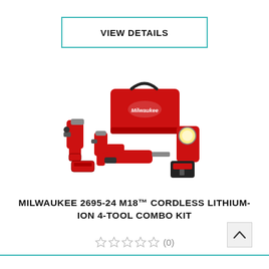VIEW DETAILS
[Figure (photo): Milwaukee M18 cordless tool combo kit including drill, impact driver, reciprocating saw, work light, batteries, charger, and red tool bag]
MILWAUKEE 2695-24 M18™ CORDLESS LITHIUM-ION 4-TOOL COMBO KIT
★★★★★ (0)
^